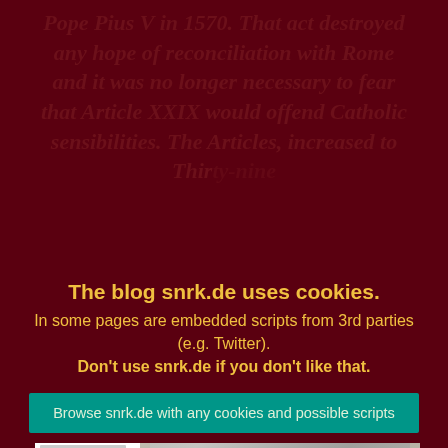Pope Pius V in 1570. That act destroyed any hope of reconciliation with Rome and it was no longer necessary to fear that Article XXIX would offend Catholic sensibilities. The Articles, increased to Thirty-nine... Queen... my we...
[Figure (screenshot): Screenshot of a browser window showing a historical document page on The British Library website, with sidebar content on left and historical engravings/illustrations visible in the main content area including overlapping image thumbnails]
Source(s):
The blog snrk.de uses cookies.
In some pages are embedded scripts from 3rd parties (e.g. Twitter).
Don't use snrk.de if you don't like that.
Browse snrk.de with any cookies and possible scripts